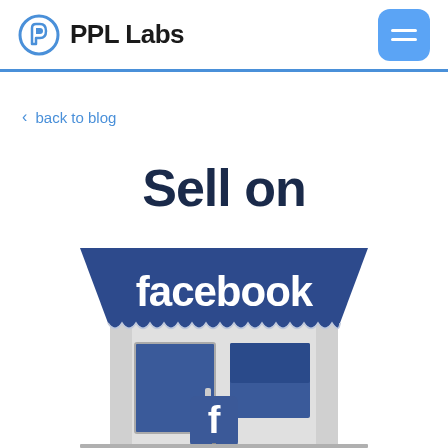PPL Labs
< back to blog
[Figure (illustration): Sell on Facebook blog header image showing a storefront with a blue awning that reads 'facebook' in white text, with 'Sell on' text above it and a Facebook 'f' sign in front of the store.]